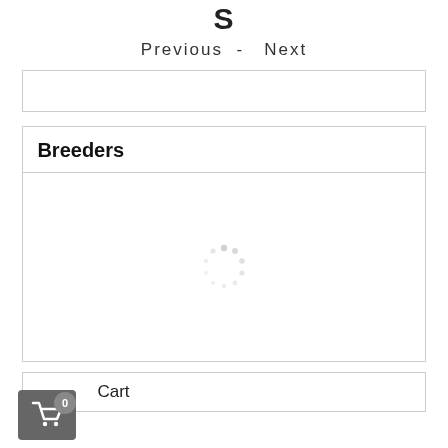S
Previous - Next
[Figure (screenshot): Empty search/input box with border]
Breeders
[Figure (infographic): Loading spinner (circular dots pattern) inside a bordered card]
Cart
[Figure (infographic): Shopping cart button icon (dark gray square with cart icon) with badge showing 0]